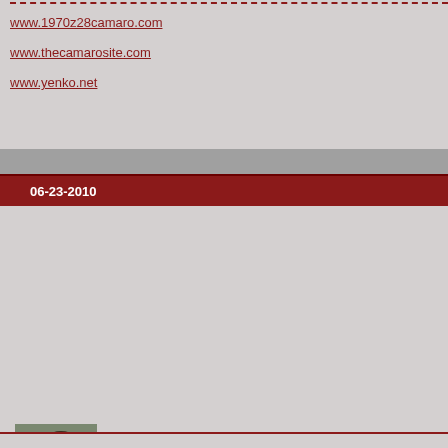www.1970z28camaro.com
www.thecamarosite.com
www.yenko.net
06-23-2010
[Figure (photo): Group photo of four people standing together outdoors]
Bill Howell
-Moderator/Rat Pack/Sponsor-
[Figure (logo): Rat Pack logo with stylized car silhouette and road graphic]
Join Date:
Location:
Posts:
Country Flag: